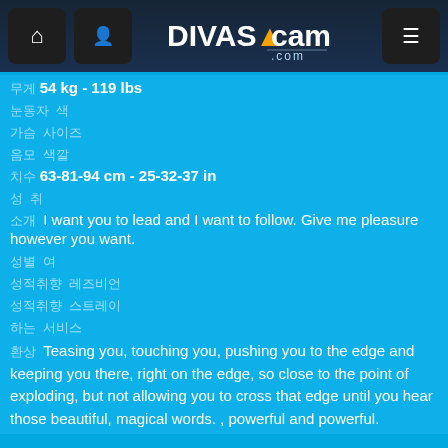DivasCam.com navigation header
무게  54 kg - 119 lbs
눈동자  색
가슴  사이즈
음모  색깔
치수  63-81-94 cm - 25-32-37 in
성 취
소개  I want you to lead and I want to follow. Give me pleasure however you want.
성별  여
성적취향  레즈비언
성적취향  스트레이
하는  서비스
환상  Teasing you, touching you, pushing you to the edge and keeping you there, right on the edge, so close to the point of exploding, but not allowing you to cross that edge until you hear those beautiful, magical words. , powerful and powerful.